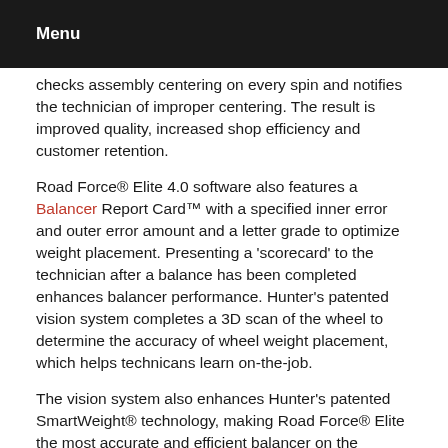Menu
checks assembly centering on every spin and notifies the technician of improper centering. The result is improved quality, increased shop efficiency and customer retention.
Road Force® Elite 4.0 software also features a Balancer Report Card™ with a specified inner error and outer error amount and a letter grade to optimize weight placement. Presenting a 'scorecard' to the technician after a balance has been completed enhances balancer performance. Hunter's patented vision system completes a 3D scan of the wheel to determine the accuracy of wheel weight placement, which helps technicans learn on-the-job.
The vision system also enhances Hunter's patented SmartWeight® technology, making Road Force® Elite the most accurate and efficient balancer on the market. The system also features automatic spoke detection, which